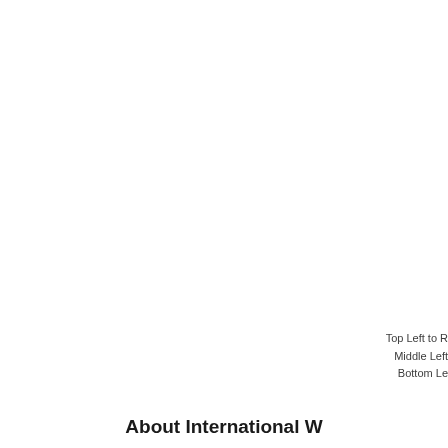Top Left to R
Middle Left
Bottom Le
About International W